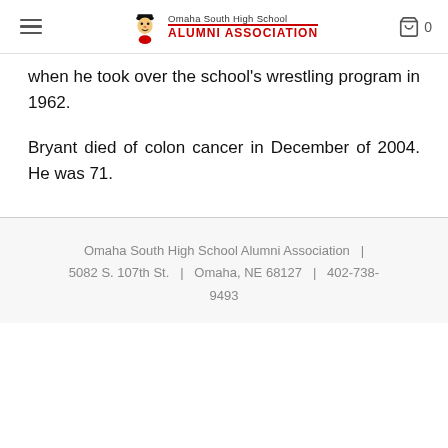Omaha South High School Alumni Association
when he took over the school's wrestling program in 1962.
Bryant died of colon cancer in December of 2004. He was 71.
Omaha South High School Alumni Association  |  5082 S. 107th St.  |  Omaha, NE 68127  |  402-738-9493